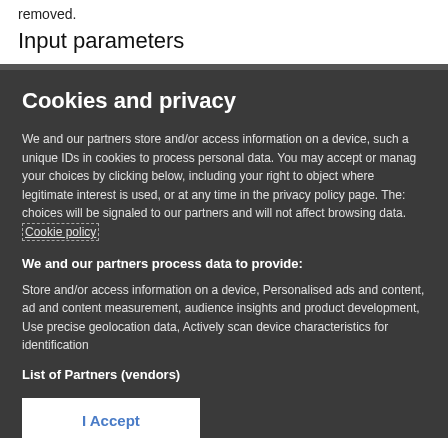removed.
Input parameters
Cookies and privacy
We and our partners store and/or access information on a device, such as unique IDs in cookies to process personal data. You may accept or manage your choices by clicking below, including your right to object where legitimate interest is used, or at any time in the privacy policy page. These choices will be signaled to our partners and will not affect browsing data. Cookie policy
We and our partners process data to provide:
Store and/or access information on a device, Personalised ads and content, ad and content measurement, audience insights and product development, Use precise geolocation data, Actively scan device characteristics for identification
List of Partners (vendors)
I Accept